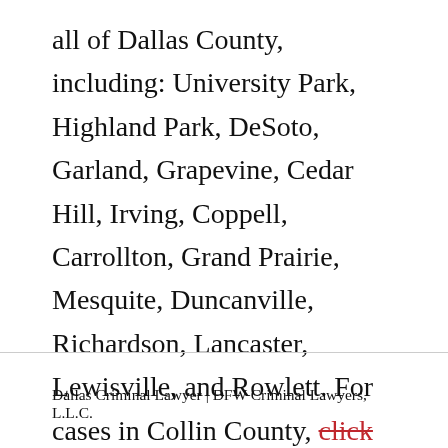all of Dallas County, including: University Park, Highland Park, DeSoto, Garland, Grapevine, Cedar Hill, Irving, Coppell, Carrollton, Grand Prairie, Mesquite, Duncanville, Richardson, Lancaster, Lewisville, and Rowlett. For cases in Collin County, click here.
Dallas Criminal Lawyer | DFW Criminal Lawyers, L.L.C.